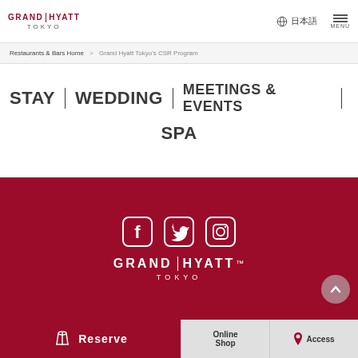GRAND | HYATT TOKYO — 日本語 MENU
Restaurants & Bars Home > Grand Hyatt Tokyo's CSR Program
STAY | WEDDING | MEETINGS & EVENTS | SPA
[Figure (logo): Grand Hyatt Tokyo logo with social media icons (Facebook, Twitter, Instagram) on dark red background]
Reserve | Online Shop | Access